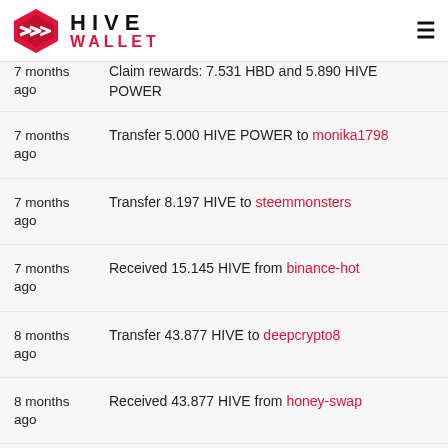HIVE WALLET
7 months ago — Claim rewards: 7.531 HBD and 5.890 HIVE POWER
7 months ago — Transfer 5.000 HIVE POWER to monika1798
7 months ago — Transfer 8.197 HIVE to steemmonsters
7 months ago — Received 15.145 HIVE from binance-hot
8 months ago — Transfer 43.877 HIVE to deepcrypto8
8 months ago — Received 43.877 HIVE from honey-swap
2 years ago — Transfer 3.065 HBD to bittrex